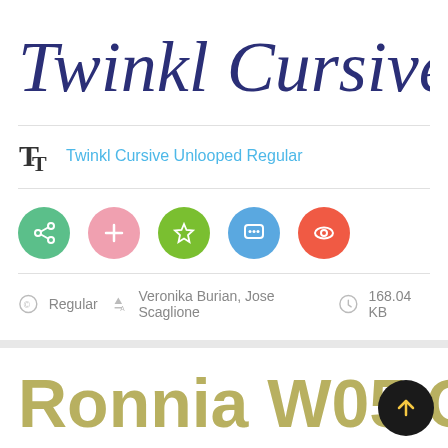Twinkl Cursive Unlo
Twinkl Cursive Unlooped Regular
[Figure (infographic): Five circular action buttons: share (green), add (pink), star (olive green), chat (blue), view/eye (red-orange)]
Regular   Veronika Burian, Jose Scaglione   168.04 KB
Ronnia W05 Condensed